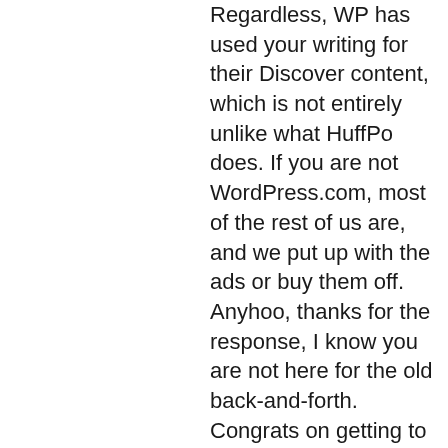Regardless, WP has used your writing for their Discover content, which is not entirely unlike what HuffPo does. If you are not WordPress.com, most of the rest of us are, and we put up with the ads or buy them off. Anyhoo, thanks for the response, I know you are not here for the old back-and-forth. Congrats on getting to write a Star Wars book. That must've been a